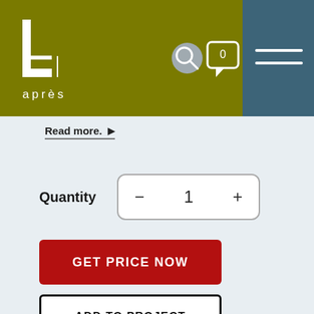[Figure (screenshot): Website header with olive/khaki green background on the left showing the 'après' logo (stylized number 1 with bracket), and a dark teal/steel blue panel on the right with a hamburger menu icon. Search icon (circular grey) and chat bubble icon with '0' badge are visible in the header.]
Read more.
Quantity
− 1 +
GET PRICE NOW
ADD TO PROJECT
Why is there no price listed?
This item is produced to your requirements. Tell us a little